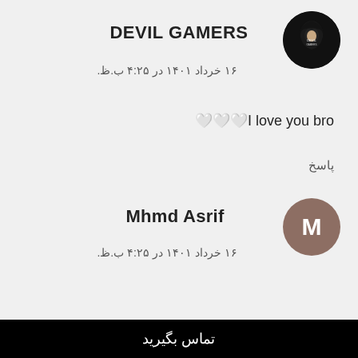DEVIL GAMERS
۱۶ خرداد ۱۴۰۱ در ۴:۲۵ ب.ظ.
[Figure (illustration): Dark hooded figure avatar for DEVIL GAMERS]
🤍🤍🤍I love you bro
پاسخ
Mhmd Asrif
[Figure (illustration): Avatar circle with letter M for Mhmd Asrif]
۱۶ خرداد ۱۴۰۱ در ۴:۲۵ ب.ظ.
تماس بگیرید